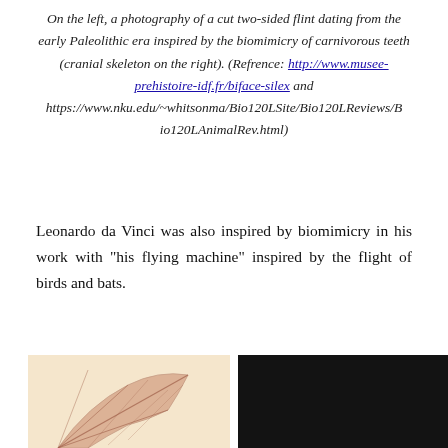On the left, a photography of a cut two-sided flint dating from the early Paleolithic era inspired by the biomimicry of carnivorous teeth (cranial skeleton on the right). (Refrence: http://www.musee-prehistoire-idf.fr/biface-silex and https://www.nku.edu/~whitsonma/Bio120LSite/Bio120LReviews/Bio120LAnimalRev.html)
Leonardo da Vinci was also inspired by biomimicry in his work with "his flying machine" inspired by the flight of birds and bats.
[Figure (photo): Two side-by-side images: left shows a bat wing illustration on a cream/beige background, right shows a dark (nearly black) image, partially visible at the bottom of the page.]